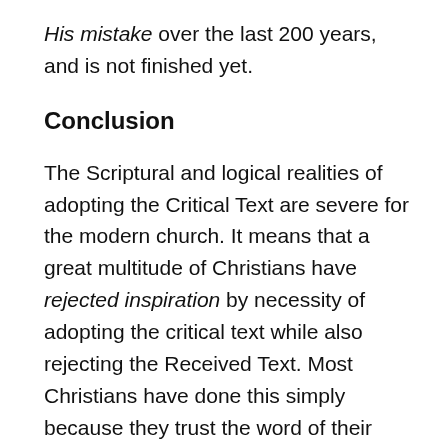His mistake over the last 200 years, and is not finished yet.
Conclusion
The Scriptural and logical realities of adopting the Critical Text are severe for the modern church. It means that a great multitude of Christians have rejected inspiration by necessity of adopting the critical text while also rejecting the Received Text. Most Christians have done this simply because they trust the word of their favorite critical scholar or apologist. The reality of this modern doctrine is that one cannot Scripturally adhere to inspiration while also rejecting the Received Text. In other words, to reject the TR is to reject inspiration. In order to logically adopt inspiration and the critical text, one must also adopt the